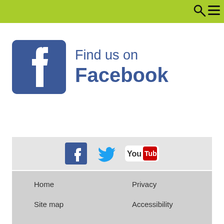[Figure (logo): Find us on Facebook logo with blue Facebook icon square and blue text 'Find us on Facebook']
[Figure (logo): Social media icons: Facebook, Twitter, YouTube]
Home
Privacy
Site map
Accessibility